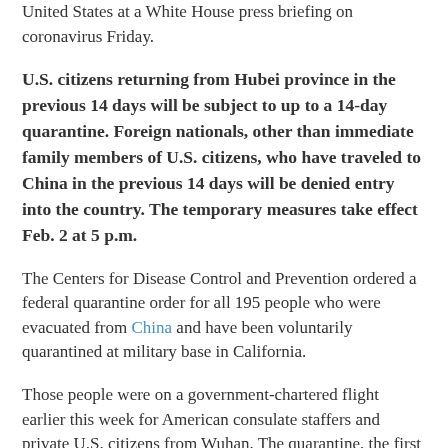United States at a White House press briefing on coronavirus Friday.
U.S. citizens returning from Hubei province in the previous 14 days will be subject to up to a 14-day quarantine. Foreign nationals, other than immediate family members of U.S. citizens, who have traveled to China in the previous 14 days will be denied entry into the country. The temporary measures take effect Feb. 2 at 5 p.m.
The Centers for Disease Control and Prevention ordered a federal quarantine order for all 195 people who were evacuated from China and have been voluntarily quarantined at military base in California.
Those people were on a government-chartered flight earlier this week for American consulate staffers and private U.S. citizens from Wuhan. The quarantine, the first order of its kind in 50 years, will last for 14 days from when they departed...